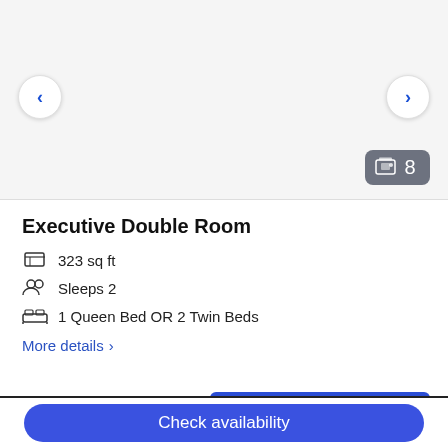[Figure (screenshot): Hotel room image carousel area with left/right navigation arrows and image counter badge showing 8 images]
Executive Double Room
323 sq ft
Sleeps 2
1 Queen Bed OR 2 Twin Beds
More details >
Choose your dates
Check availability